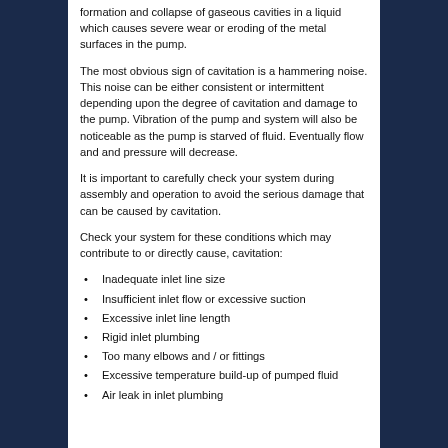formation and collapse of gaseous cavities in a liquid which causes severe wear or eroding of the metal surfaces in the pump.
The most obvious sign of cavitation is a hammering noise. This noise can be either consistent or intermittent depending upon the degree of cavitation and damage to the pump. Vibration of the pump and system will also be noticeable as the pump is starved of fluid. Eventually flow and and pressure will decrease.
It is important to carefully check your system during assembly and operation to avoid the serious damage that can be caused by cavitation.
Check your system for these conditions which may contribute to or directly cause, cavitation:
Inadequate inlet line size
Insufficient inlet flow or excessive suction
Excessive inlet line length
Rigid inlet plumbing
Too many elbows and / or fittings
Excessive temperature build-up of pumped fluid
Air leak in inlet plumbing